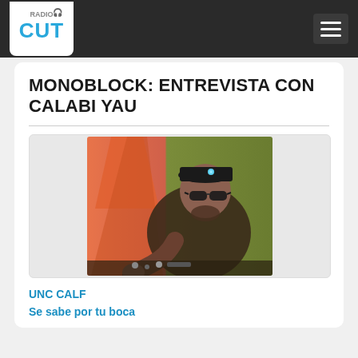RadioCut
MONOBLOCK: ENTREVISTA CON CALABI YAU
[Figure (photo): DJ with sunglasses and jeweled cap, leaning over DJ equipment, wearing a plaid shirt, with orange and green background lights]
UNC CALF
Se sabe por tu boca